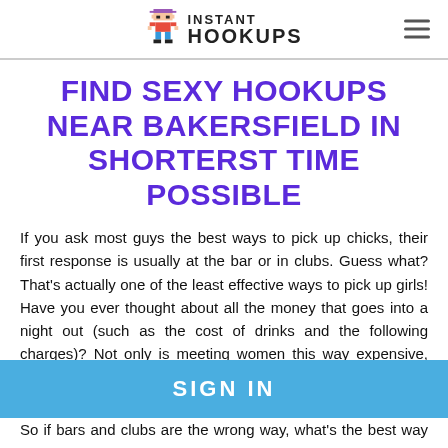INSTANT HOOKUPS
FIND SEXY HOOKUPS NEAR BAKERSFIELD IN SHORTERST TIME POSSIBLE
If you ask most guys the best ways to pick up chicks, their first response is usually at the bar or in clubs. Guess what? That's actually one of the least effective ways to pick up girls! Have you ever thought about all the money that goes into a night out (such as the cost of drinks and the following charges)? Not only is meeting women this way expensive, but it doesn't always work out either. If you're unlucky, you may even end up going home alone despite spending heaps of money – not
So if bars and clubs are the wrong way, what's the best way to